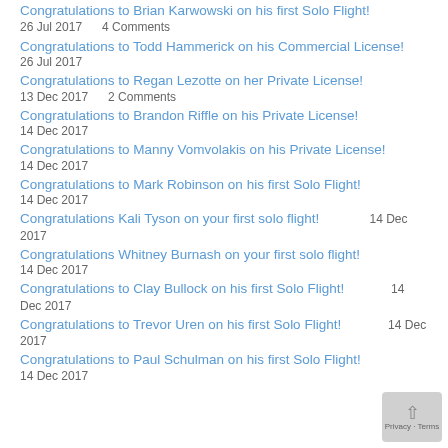Congratulations to Brian Karwowski on his first Solo Flight!
26 Jul 2017    4 Comments
Congratulations to Todd Hammerick on his Commercial License!
26 Jul 2017
Congratulations to Regan Lezotte on her Private License!
13 Dec 2017    2 Comments
Congratulations to Brandon Riffle on his Private License!
14 Dec 2017
Congratulations to Manny Vomvolakis on his Private License!
14 Dec 2017
Congratulations to Mark Robinson on his first Solo Flight!
14 Dec 2017
Congratulations Kali Tyson on your first solo flight!    14 Dec 2017
Congratulations Whitney Burnash on your first solo flight!
14 Dec 2017
Congratulations to Clay Bullock on his first Solo Flight!    14 Dec 2017
Congratulations to Trevor Uren on his first Solo Flight!    14 Dec 2017
Congratulations to Paul Schulman on his first Solo Flight!
14 Dec 2017